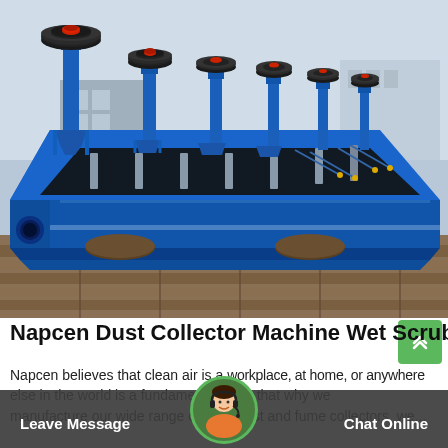[Figure (photo): A large blue industrial Napcen Dust Collector Machine Wet Scrubber sitting outdoors on wooden pallets. The machine is a long rectangular trough with multiple vertical impeller shafts topped with black circular wheels/pulleys, and red trim accents. The background shows a warehouse or factory yard.]
Napcen Dust Collector Machine Wet Scrubber
Napcen believes that clean air is a workplace, at home, or anywhere else in the world is a fundamental right. that why we manufacture our wide range of dust, mist and fume collectors. we...